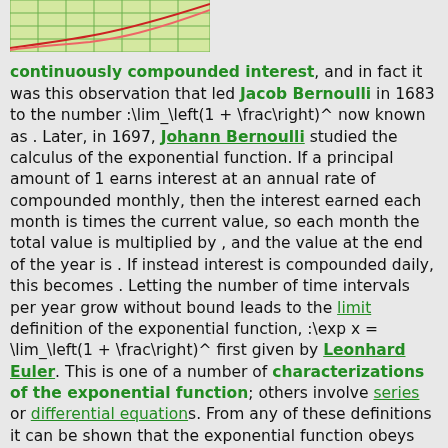[Figure (continuous-plot): A small graph showing curves (red/pink lines) on a green grid, appearing to show exponential growth curves.]
continuously compounded interest, and in fact it was this observation that led Jacob Bernoulli in 1683 to the number :\lim_\left(1 + \frac\right)^ now known as . Later, in 1697, Johann Bernoulli studied the calculus of the exponential function. If a principal amount of 1 earns interest at an annual rate of compounded monthly, then the interest earned each month is times the current value, so each month the total value is multiplied by , and the value at the end of the year is . If instead interest is compounded daily, this becomes . Letting the number of time intervals per year grow without bound leads to the limit definition of the exponential function, :\exp x = \lim_\left(1 + \frac\right)^ first given by Leonhard Euler. This is one of a number of characterizations of the exponential function; others involve series or differential equations. From any of these definitions it can be shown that the exponential function obeys the basic exponentiation identity, :\exp(x + y) = \exp x \cdot \exp y which justifies the notation for . The derivative (rate of change) of the exponential function is the exponential function itself. More generally, a function with a rate of change "proportional" to the function itself (rather than equal to it) is a possible instance of the exponential function.